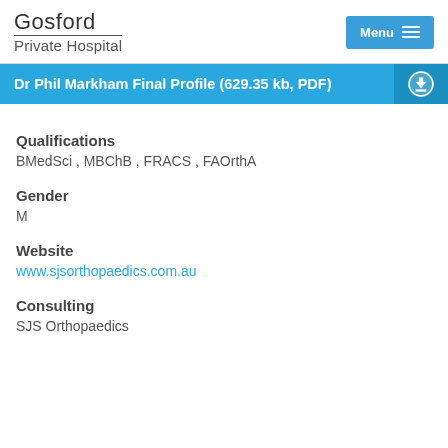Gosford Private Hospital | Menu
Dr Phil Markham Final Profile (629.35 kb, PDF)
Qualifications
BMedSci , MBChB , FRACS , FAOrthA
Gender
M
Website
www.sjsorthopaedics.com.au
Consulting
SJS Orthopaedics